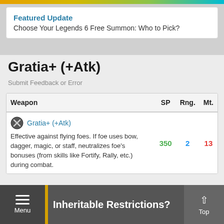Featured Update
Choose Your Legends 6 Free Summon: Who to Pick?
Gratia+ (+Atk)
Submit Feedback or Error
| Weapon | SP | Rng. | Mt. |
| --- | --- | --- | --- |
| Gratia+ (+Atk)
Effective against flying foes. If foe uses bow, dagger, magic, or staff, neutralizes foe's bonuses (from skills like Fortify, Rally, etc.) during combat. | 350 | 2 | 13 |
Inheritable Restrictions?